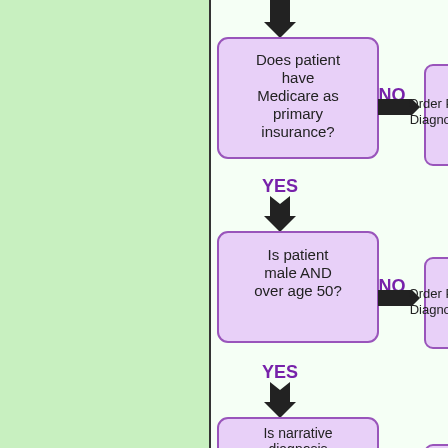[Figure (flowchart): A medical decision flowchart (partially visible) showing a decision tree for PSA ordering. Three decision diamond/box nodes visible: 'Does patient have Medicare as primary insurance?' with NO branch going right to 'Order PSA Diagnostic' and YES branch going down. Second node: 'Is patient male AND over age 50?' with NO going right to 'Order PSA Diagnostic' and YES going down. Third node: 'Is narrative diagnosis "screening" or is ICD-9/10 (diagnosis)' with NO going right to 'Order PSA Diagnostic'. Left portion shows green background with a vertical black dividing line.]